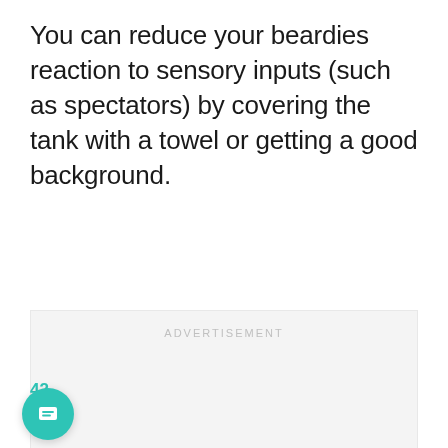You can reduce your beardies reaction to sensory inputs (such as spectators) by covering the tank with a towel or getting a good background.
[Figure (other): Advertisement placeholder box with light gray background and 'ADVERTISEMENT' text centered near the top]
42